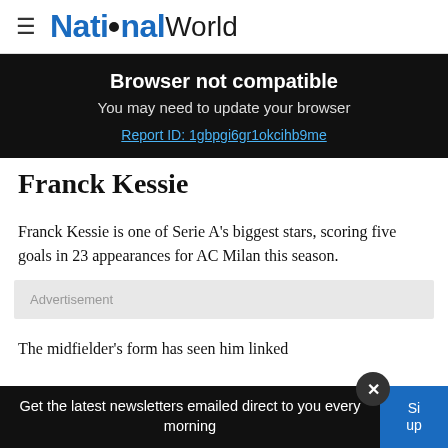NationalWorld
Browser not compatible
You may need to update your browser
Report ID: 1gbpgi6gr1okcihb9me
Franck Kessie
Franck Kessie is one of Serie A's biggest stars, scoring five goals in 23 appearances for AC Milan this season.
Advertisement
The midfielder's form has seen him linked
Get the latest newsletters emailed direct to you every morning